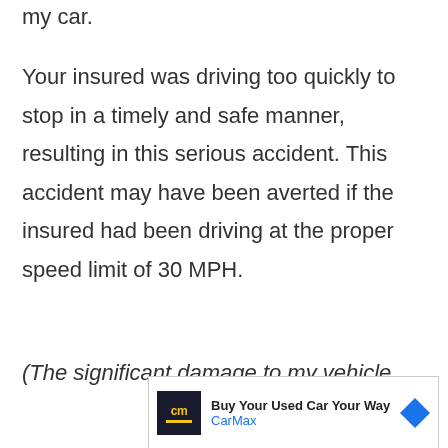my car.
Your insured was driving too quickly to stop in a timely and safe manner, resulting in this serious accident. This accident may have been averted if the insured had been driving at the proper speed limit of 30 MPH.
(The significant damage to my vehicle
[Figure (other): CarMax advertisement banner showing logo and 'Buy Your Used Car Your Way' text with blue diamond arrow icon]